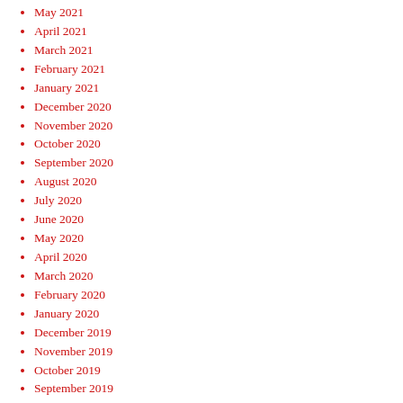May 2021
April 2021
March 2021
February 2021
January 2021
December 2020
November 2020
October 2020
September 2020
August 2020
July 2020
June 2020
May 2020
April 2020
March 2020
February 2020
January 2020
December 2019
November 2019
October 2019
September 2019
August 2019
July 2019
June 2019
May 2019
November 2018